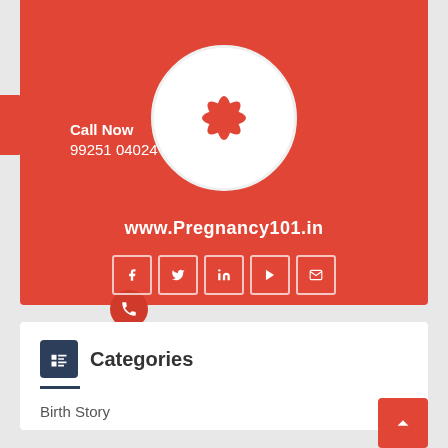[Figure (logo): Pregnancy101.in logo: white circle with red flower/snowflake icon on red background]
Call Now
99251 04024
www.Pregnancy101.in
[Figure (infographic): Social media icons row: Facebook, Twitter, LinkedIn, YouTube, Email in white-bordered boxes]
Categories
Birth Story  112